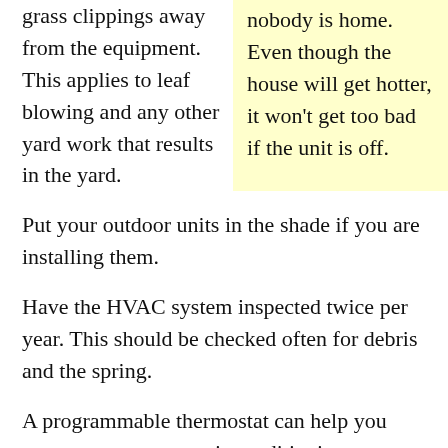grass clippings away from the equipment. This applies to leaf blowing and any other yard work that results in the yard.
nobody is home. Even though the house will get hotter, it won't get too bad if the unit is off.
Put your outdoor units in the shade if you are installing them.
Have the HVAC system inspected twice per year. This should be checked often for debris and the spring.
A programmable thermostat can help you save money on your air conditioning costs. Some programmable thermostats can even be